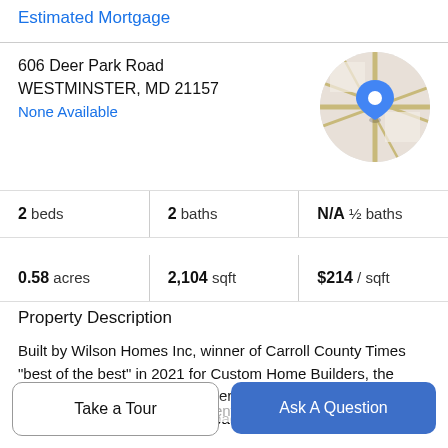Estimated Mortgage
606 Deer Park Road
WESTMINSTER, MD 21157
None Available
[Figure (map): Circular map thumbnail showing a street map with a blue location pin marker]
2 beds | 2 baths | N/A ½ baths
0.58 acres | 2,104 sqft | $214 / sqft
Property Description
Built by Wilson Homes Inc, winner of Carroll County Times "best of the best" in 2021 for Custom Home Builders, the quality of this multi family property is top notch. Month to month lease on commercial space on 1st floor and 12 month lease on upstairs residential apartment. Don't miss
Take a Tour
Ask A Question